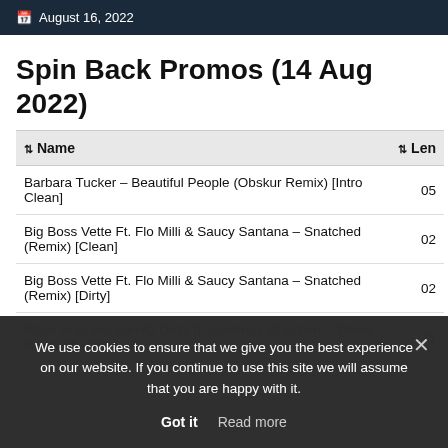August 16, 2022
Spin Back Promos (14 Aug 2022)
| Name | Len |
| --- | --- |
| Barbara Tucker – Beautiful People (Obskur Remix) [Intro Clean] | 05 |
| Big Boss Vette Ft. Flo Milli & Saucy Santana – Snatched (Remix) [Clean] | 02 |
| Big Boss Vette Ft. Flo Milli & Saucy Santana – Snatched (Remix) [Dirty] | 02 |
| Black Soprano Family Deity ft. Governor of Greed – Times Is Rough (Dirty) | 71 |
We use cookies to ensure that we give you the best experience on our website. If you continue to use this site we will assume that you are happy with it.